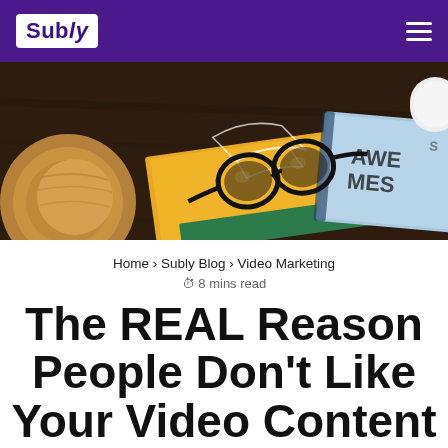Subly
[Figure (photo): Top-down photo of a wooden desk with a tan leather chair, black-framed glasses resting on an open yellow book, and a light blue book partially visible at the right edge]
Home > Subly Blog > Video Marketing
8 mins read
The REAL Reason People Don't Like Your Video Content